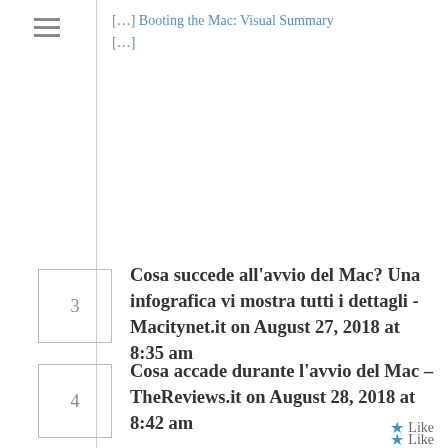[…] Booting the Mac: Visual Summary […]
Cosa succede all'avvio del Mac? Una infografica vi mostra tutti i dettagli - Macitynet.it on August 27, 2018 at 8:35 am
Like
[…] e altri dispositivi, elemento che varia da Mac a Mac. Se siete interessati a questi argomenti, sul sito di EclecticLight sono presenti articoli con dettagli su cosa avviene prima di boot.efi (nella fase nella quale […]
Cosa accade durante l'avvio del Mac – TheReviews.it on August 28, 2018 at 8:42 am
Like